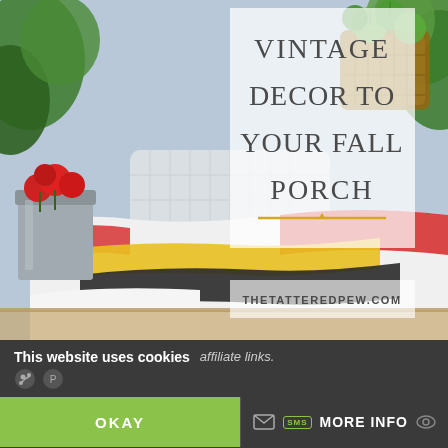[Figure (photo): A fall porch scene showing a white wicker chair with colorful striped blankets (white, red, yellow, dark gray/black stripes) draped over it, a galvanized metal bucket planter with red flowers, a wicker basket with green round leaves, and green foliage in the background. A semi-transparent overlay box in the center-top area contains the title text 'VINTAGE DECOR TO YOUR FALL PORCH' in large gray serif lettering with a gold/yellow horizontal line beneath, and the website URL 'THETATTEREDPEW.COM' at the bottom of the image.]
This website uses cookies
affiliate links.
OKAY
MORE INFO